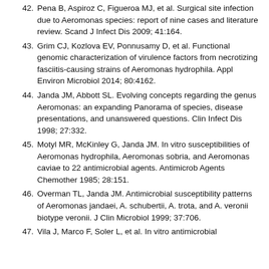42. Pena B, Aspiroz C, Figueroa MJ, et al. Surgical site infection due to Aeromonas species: report of nine cases and literature review. Scand J Infect Dis 2009; 41:164.
43. Grim CJ, Kozlova EV, Ponnusamy D, et al. Functional genomic characterization of virulence factors from necrotizing fasciitis-causing strains of Aeromonas hydrophila. Appl Environ Microbiol 2014; 80:4162.
44. Janda JM, Abbott SL. Evolving concepts regarding the genus Aeromonas: an expanding Panorama of species, disease presentations, and unanswered questions. Clin Infect Dis 1998; 27:332.
45. Motyl MR, McKinley G, Janda JM. In vitro susceptibilities of Aeromonas hydrophila, Aeromonas sobria, and Aeromonas caviae to 22 antimicrobial agents. Antimicrob Agents Chemother 1985; 28:151.
46. Overman TL, Janda JM. Antimicrobial susceptibility patterns of Aeromonas jandaei, A. schubertii, A. trota, and A. veronii biotype veronii. J Clin Microbiol 1999; 37:706.
47. Vila J, Marco F, Soler L, et al. In vitro antimicrobial